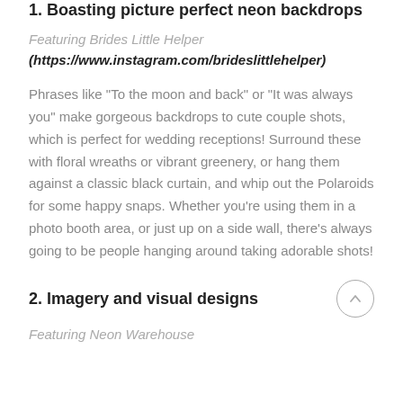1. Boasting picture perfect neon backdrops
Featuring Brides Little Helper
(https://www.instagram.com/brideslittlehelper)
Phrases like "To the moon and back" or "It was always you" make gorgeous backdrops to cute couple shots, which is perfect for wedding receptions! Surround these with floral wreaths or vibrant greenery, or hang them against a classic black curtain, and whip out the Polaroids for some happy snaps. Whether you're using them in a photo booth area, or just up on a side wall, there's always going to be people hanging around taking adorable shots!
2. Imagery and visual designs
Featuring Neon Warehouse